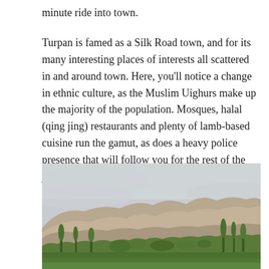minute ride into town.
Turpan is famed as a Silk Road town, and for its many interesting places of interests all scattered in and around town. Here, you'll notice a change in ethnic culture, as the Muslim Uighurs make up the majority of the population. Mosques, halal (qing jing) restaurants and plenty of lamb-based cuisine run the gamut, as does a heavy police presence that will follow you for the rest of the journey across Xinjiang.
[Figure (photo): Landscape photograph showing rolling hills with arid brown mountains in the background under an overcast grey sky, and green vegetation including trees in the foreground valley.]